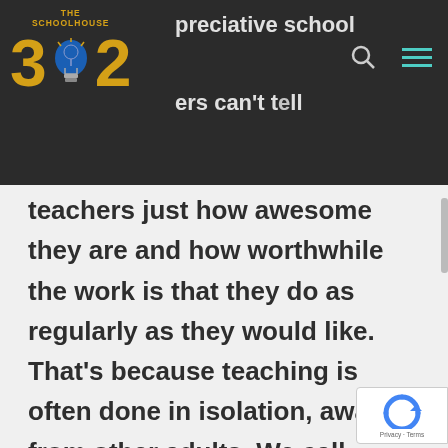[Figure (logo): The Schoolhouse 302 logo — gold '3' and '2' with a blue lightbulb icon in between, on dark background]
The appreciative school leaders can't tell teachers just how
teachers just how awesome they are and how worthwhile the work is that they do as regularly as they would like. That's because teaching is often done in isolation, away from other adults. We call